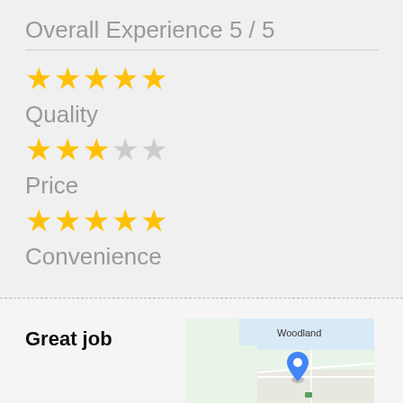Overall Experience 5 / 5
[Figure (infographic): 5 filled yellow stars representing overall experience rating of 5/5]
Quality
[Figure (infographic): 3 filled yellow stars and 2 empty/grey stars representing quality rating of 3/5]
Price
[Figure (infographic): 5 filled yellow stars representing price rating of 5/5]
Convenience
Great job
[Figure (map): Map showing Woodland area with a blue location pin marker]